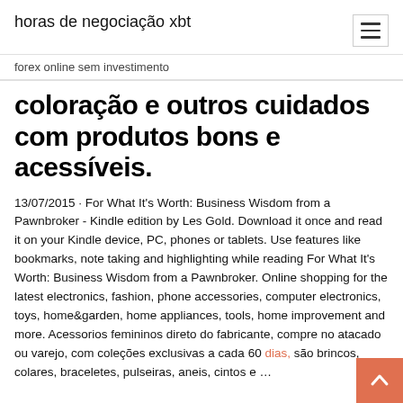horas de negociação xbt
forex online sem investimento
coloração e outros cuidados com produtos bons e acessíveis.
13/07/2015 · For What It's Worth: Business Wisdom from a Pawnbroker - Kindle edition by Les Gold. Download it once and read it on your Kindle device, PC, phones or tablets. Use features like bookmarks, note taking and highlighting while reading For What It's Worth: Business Wisdom from a Pawnbroker. Online shopping for the latest electronics, fashion, phone accessories, computer electronics, toys, home&garden, home appliances, tools, home improvement and more. Acessorios femininos direto do fabricante, compre no atacado ou varejo, com coleções exclusivas a cada 60 dias, são brincos, colares, braceletes, pulseiras, aneis, cintos e ...